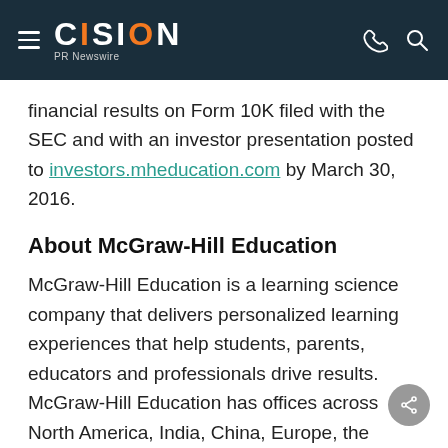CISION PR Newswire
financial results on Form 10K filed with the SEC and with an investor presentation posted to investors.mheducation.com by March 30, 2016.
About McGraw-Hill Education
McGraw-Hill Education is a learning science company that delivers personalized learning experiences that help students, parents, educators and professionals drive results. McGraw-Hill Education has offices across North America, India, China, Europe, the Middle East and South America, and makes its learning